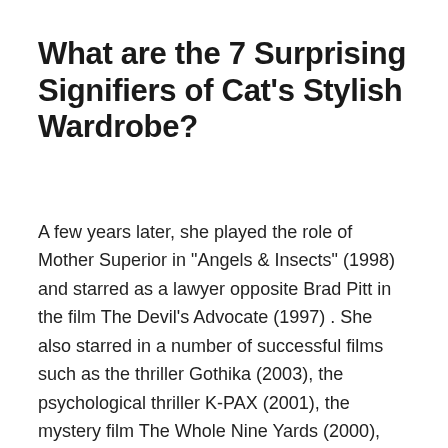What are the 7 Surprising Signifiers of Cat's Stylish Wardrobe?
A few years later, she played the role of Mother Superior in "Angels & Insects" (1998) and starred as a lawyer opposite Brad Pitt in the film The Devil's Advocate (1997) . She also starred in a number of successful films such as the thriller Gothika (2003), the psychological thriller K-PAX (2001), the mystery film The Whole Nine Yards (2000), and the crime drama The Omen: The Final Conflict (2006). Since 2003, she has starred in both the British television drama Cold Feet and the American television series Law & Order: Criminal Intent. She starred opposite Johnny Depp in the drama Pirates of the Caribbean: The Curse of the Black Pearl (2003) and